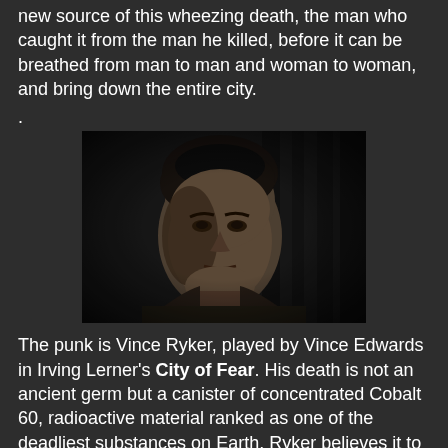new source of this wheezing death, the man who caught it from the man he killed, before it can be breathed from man to man and woman to woman, and bring down the entire city.
.
[Figure (photo): Black and white close-up photograph of a young man with dark curly hair, looking intensely at the camera, wearing a jacket. Film noir style lighting.]
The punk is Vince Ryker, played by Vince Edwards in Irving Lerner's City of Fear. His death is not an ancient germ but a canister of concentrated Cobalt 60, radioactive material ranked as one of the deadliest substances on Earth. Ryker believes it to be heroin – as if that was somehow better – which he plans to sell, and on which he pegs his deluded hopes of a bright future. His future, any kind of future, good or bad, was cut off at the knees the moment he touched that canister, but he protects it like a baby, guards it against theft, and waves the canister's invisible buzzing clouds that have already killed him at all the other punks and losers with